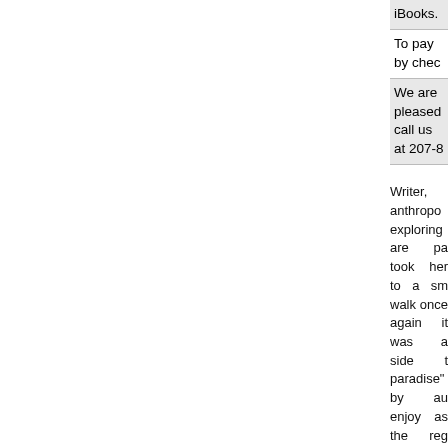| iBooks. |
| To pay by chec |
| We are pleased
call us at 207-8 |
Writer, anthropo exploring are pa took her to a sm walk once again it was a side t paradise" by au enjoy as the reg Café Oc will de walks through t the warm and w along a path of desire for home pictorial record Bahrami found a to that precious